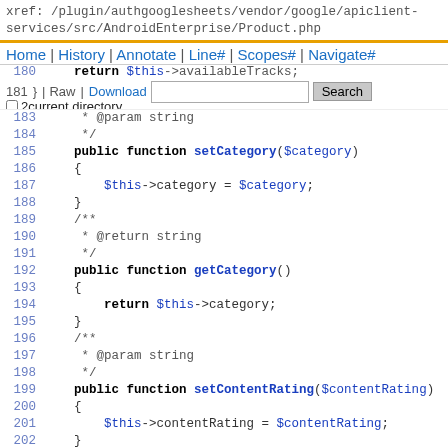xref: /plugin/authgooglesheets/vendor/google/apiclient-services/src/AndroidEnterprise/Product.php
Home | History | Annotate | Line# | Scopes# | Navigate#
Raw | Download  [Search box]  Search  2 current directory
183     * @param string
184     */
185   public function setCategory($category)
186   {
187       $this->category = $category;
188   }
189   /**
190    * @return string
191    */
192   public function getCategory()
193   {
194       return $this->category;
195   }
196   /**
197    * @param string
198    */
199   public function setContentRating($contentRating)
200   {
201       $this->contentRating = $contentRating;
202   }
203   /**
204    * @return string
205    */